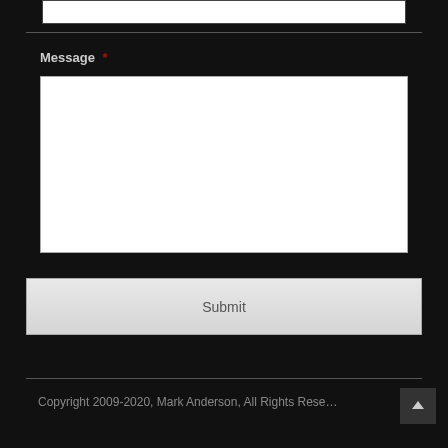[Figure (screenshot): Top portion of a white input box (cropped at top of page)]
Message *
[Figure (screenshot): Large white textarea input field for message entry]
Submit
Copyright 2009-2020, Mark Anderson, All Rights Reserved